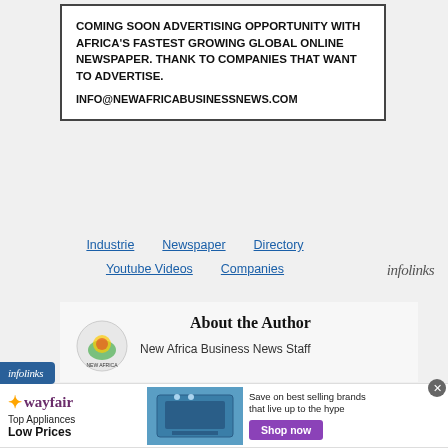COMING SOON ADVERTISING OPPORTUNITY WITH AFRICA'S FASTEST GROWING GLOBAL ONLINE NEWSPAPER. THANK TO COMPANIES THAT WANT TO ADVERTISE.
INFO@NEWAFRICABUSINESSNEWS.COM
Industrie | Newspaper | Directory | Youtube Videos | Companies
[Figure (logo): infolinks logo in gray/italic font on the right of the navigation row]
About the Author
New Africa Business News Staff
[Figure (logo): infolinks badge in blue on the left edge]
[Figure (infographic): Wayfair advertisement banner: Top Appliances Low Prices, Save on best selling brands that live up to the hype, Shop now button, image of a stove]